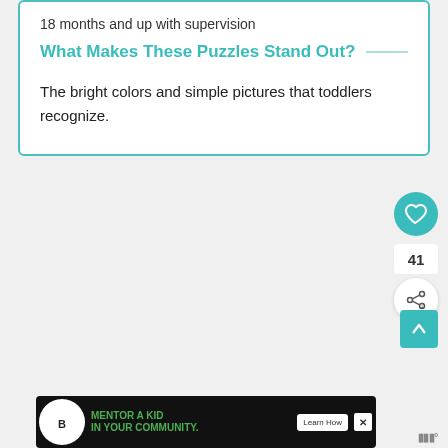18 months and up with supervision
What Makes These Puzzles Stand Out?
The bright colors and simple pictures that toddlers recognize.
[Figure (other): Heart/like button (teal circle with heart icon), like count '41', share button (white circle with share icon), scroll-to-top button (teal square with up arrow)]
[Figure (other): Advertisement banner: Big Brothers Big Sisters — MENTOR A KID IN YOUR COMMUNITY. Learn How button. Close X button. Moat analytics logo.]